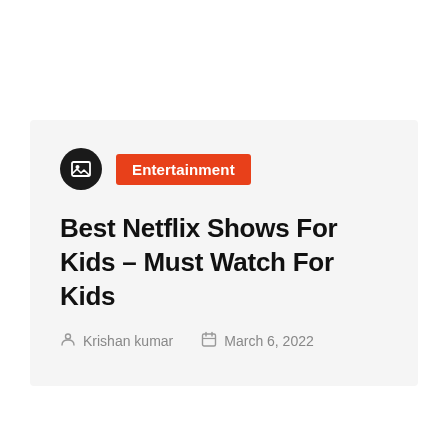[Figure (illustration): Black circle icon with an image placeholder symbol (landscape icon in white)]
Entertainment
Best Netflix Shows For Kids – Must Watch For Kids
Krishan kumar   March 6, 2022